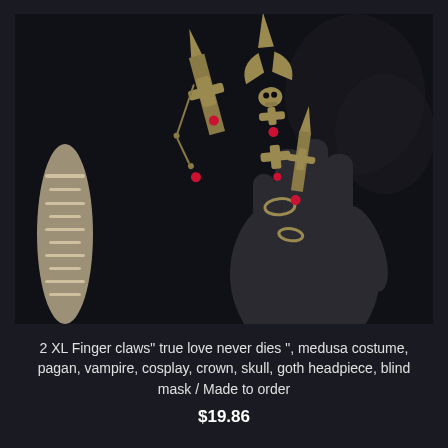[Figure (photo): A dark background photo showing gothic finger claws with ornate brass/gold-tone metalwork featuring skull and cross designs with red gemstone accents, displayed on a black mannequin hand. A decorative white skeletal or lace piece is visible on the left side.]
2 XL Finger claws" true love never dies ", medusa costume, pagan, vampire, cosplay, crown, skull, goth headpiece, blind mask / Made to order
$19.86